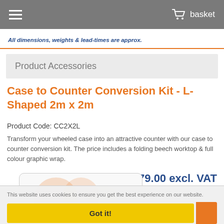basket
All dimensions, weights & lead-times are approx.
Product Accessories
Case to Counter Conversion Kit - L-Shaped 2m x 2m
Product Code: CC2X2L
Transform your wheeled case into an attractive counter with our case to counter conversion kit. The price includes a folding beech worktop & full colour graphic wrap.
£79.00 excl. VAT
[Figure (photo): Product image placeholder for Case to Counter Conversion Kit]
This website uses cookies to ensure you get the best experience on our website.
Got it!